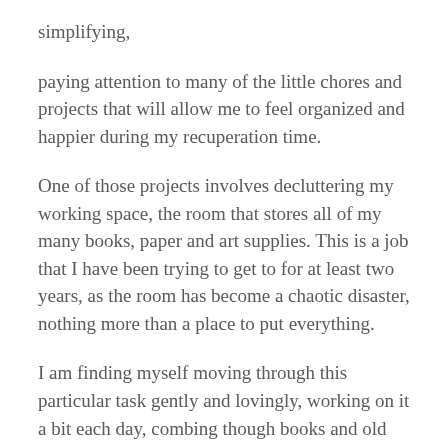simplifying,
paying attention to many of the little chores and projects that will allow me to feel organized and happier during my recuperation time.
One of those projects involves decluttering my working space, the room that stores all of my many books, paper and art supplies. This is a job that I have been trying to get to for at least two years, as the room has become a chaotic disaster, nothing more than a place to put everything.
I am finding myself moving through this particular task gently and lovingly, working on it a bit each day, combing though books and old pictures, cards, old journals.